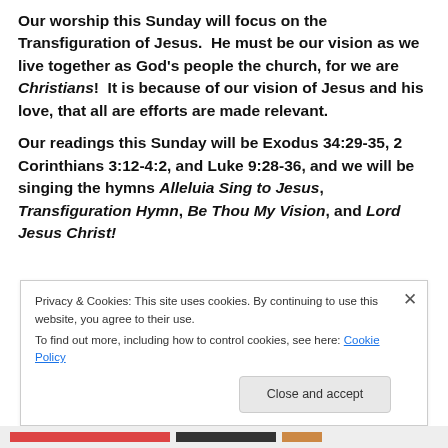Our worship this Sunday will focus on the Transfiguration of Jesus. He must be our vision as we live together as God's people the church, for we are Christians! It is because of our vision of Jesus and his love, that all are efforts are made relevant.
Our readings this Sunday will be Exodus 34:29-35, 2 Corinthians 3:12-4:2, and Luke 9:28-36, and we will be singing the hymns Alleluia Sing to Jesus, Transfiguration Hymn, Be Thou My Vision, and Lord Jesus Christ!
Privacy & Cookies: This site uses cookies. By continuing to use this website, you agree to their use.
To find out more, including how to control cookies, see here: Cookie Policy